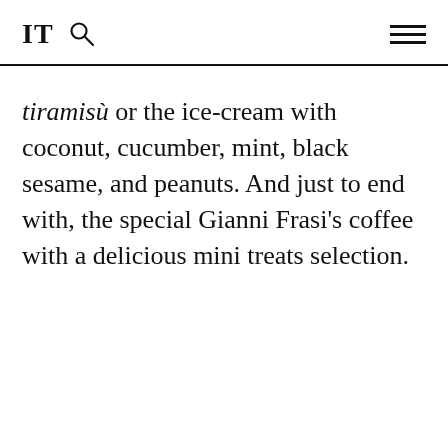IT [search icon] [menu icon]
tiramisù or the ice-cream with coconut, cucumber, mint, black sesame, and peanuts. And just to end with, the special Gianni Frasi's coffee with a delicious mini treats selection.